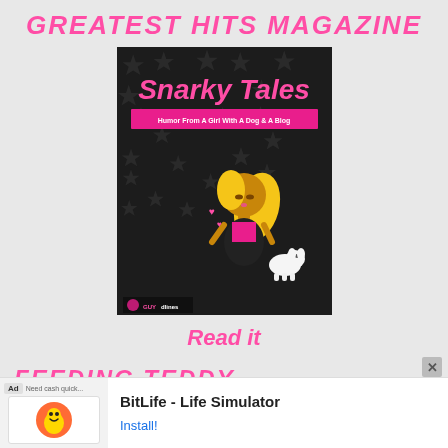GREATEST HITS MAGAZINE
[Figure (illustration): Book cover for 'Snarky Tales: Humor From A Girl With A Dog & A Blog' — dark background with star pattern, pink title text, cartoon blonde girl in black outfit with a small white dog, GUYdlines logo at bottom left]
Read it
FEEDING TEDDY
[Figure (screenshot): Advertisement banner for BitLife - Life Simulator app with Install button]
BitLife - Life Simulator
Install!